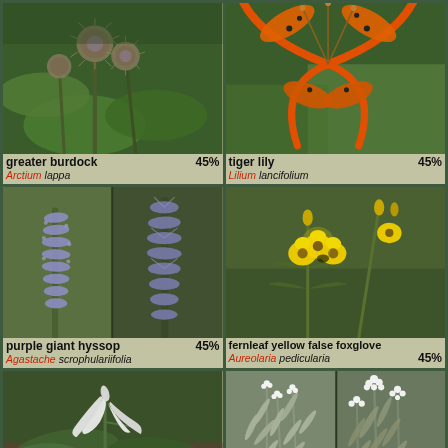[Figure (photo): Greater burdock plant with spiky purple-green seed heads and broad leaves]
greater burdock 45% / Arctium lappa
[Figure (photo): Tiger lily orange flower with black spots and curved petals]
tiger lily 45% / Lilium lancifolium
[Figure (photo): Purple giant hyssop - two photos showing purple spike flowers]
purple giant hyssop 45% / Agastache scrophulariifolia
[Figure (photo): Fernleaf yellow false foxglove with bright yellow flowers]
fernleaf yellow false foxglove / Aureolaria pedicularia 45%
[Figure (photo): Plant with white drooping flowers and red berries among green leaves]
[Figure (photo): Two photos of white-flowered plants with narrow silvery leaves]